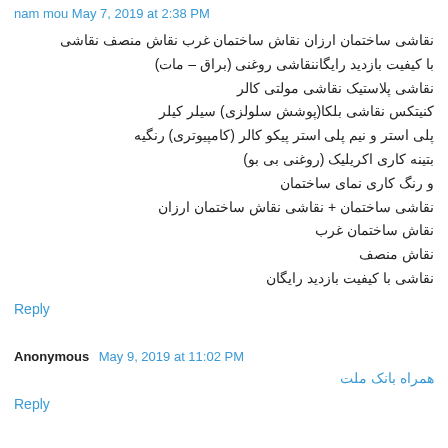nam mou  May 7, 2019 at 2:38 PM
نقاشی ساختمان ارزان نقاش ساختمان غرب نقاش منصف نقاشی با کیفیت بازدید رایگاننقاشی روغنی (براق – مات) نقاشی پلاستیک نقاشی مولتی کالر کنیتکس نقاشی بلکا(پوشش سلولزی) سیلر کیلر پلی استر و نیم پلی استر پیکو کالر (کامپیوتری) رنگیه بتینه کاری اکریلیک (روغنی بی بو) و رنگ کاری نمای ساختمان نقاشی ساختمان + نقاشی نقاش ساختمان ارزان نقاش ساختمان غرب نقاش منصف نقاشی با کیفیت بازدید رایگان
Reply
Anonymous  May 9, 2019 at 11:02 PM
همراه بانک ملت
Reply